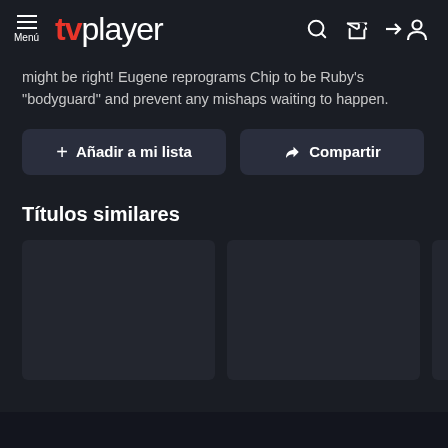tvplayer
might be right! Eugene reprograms Chip to be Ruby's "bodyguard" and prevent any mishaps waiting to happen.
+ Añadir a mi lista
→ Compartir
Títulos similares
[Figure (screenshot): Two dark thumbnail cards for similar titles, partially showing a third card at the right edge]